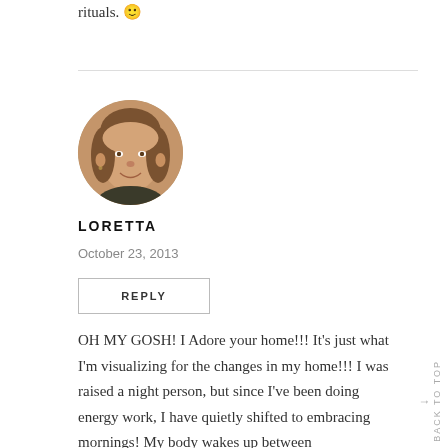rituals. 🙂
[Figure (photo): Circular avatar photo of a woman with shoulder-length brown hair, smiling, wearing a dark top.]
LORETTA
October 23, 2013
REPLY
OH MY GOSH! I Adore your home!!! It's just what I'm visualizing for the changes in my home!!! I was raised a night person, but since I've been doing energy work, I have quietly shifted to embracing mornings! My body wakes up between